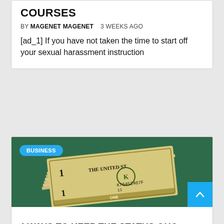COURSES
BY MAGENET MAGENET   3 WEEKS AGO
[ad_1] If you have not taken the time to start off your sexual harassment instruction
[Figure (photo): A bundle of US dollar bills on a dark green background with a blue BUSINESS tag overlay]
4 WAYS TO KEEP THE STATUS QUO FROM STOPPING YOUR BUSINESS GROWTH